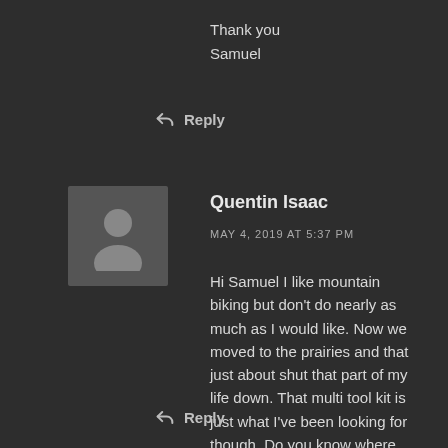Thank you
Samuel
↩ Reply
Quentin Isaac
MAY 4, 2019 AT 5:37 PM
Hi Samuel I like mountain biking but don't do nearly as much as I would like. Now we moved to the prairies and that just about shut that part of my life down. That multi tool kit is just what I've been looking for though. Do you know where the best place is to get something like that? I would be interested to know the price thanks.
↩ Reply